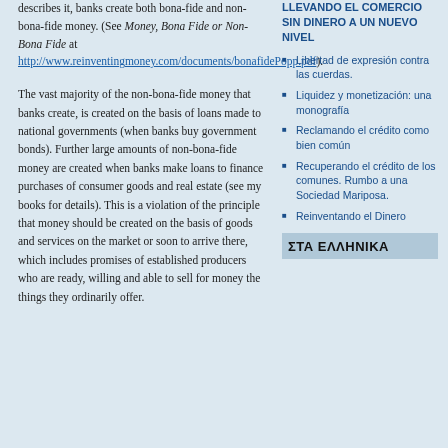describes it, banks create both bona-fide and non-bona-fide money. (See Money, Bona Fide or Non-Bona Fide at http://www.reinventingmoney.com/documents/bonafidePopp.pdf).
LLEVANDO EL COMERCIO SIN DINERO A UN NUEVO NIVEL
Libertad de expresión contra las cuerdas.
Liquidez y monetización: una monografía
Reclamando el crédito como bien común
Recuperando el crédito de los comunes. Rumbo a una Sociedad Mariposa.
Reinventando el Dinero
The vast majority of the non-bona-fide money that banks create, is created on the basis of loans made to national governments (when banks buy government bonds). Further large amounts of non-bona-fide money are created when banks make loans to finance purchases of consumer goods and real estate (see my books for details). This is a violation of the principle that money should be created on the basis of goods and services on the market or soon to arrive there, which includes promises of established producers who are ready, willing and able to sell for money the things they ordinarily offer.
ΣΤΑ ΕΛΛΗΝΙΚΑ